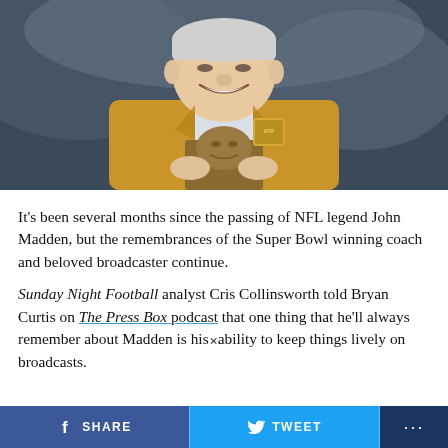[Figure (photo): John Madden in a gold Hall of Fame jacket holding a bronze bust trophy, smiling, at an outdoor stadium event]
It’s been several months since the passing of NFL legend John Madden, but the remembrances of the Super Bowl winning coach and beloved broadcaster continue.
Sunday Night Football analyst Cris Collinsworth told Bryan Curtis on The Press Box podcast that one thing that he’ll always remember about Madden is his ability to keep things lively on broadcasts.
SHARE   TWEET   ...